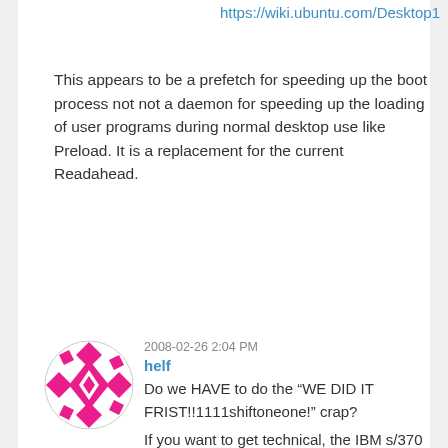https://wiki.ubuntu.com/Desktop1
This appears to be a prefetch for speeding up the boot process not not a daemon for speeding up the loading of user programs during normal desktop use like Preload. It is a replacement for the current Readahead.
[Figure (illustration): User avatar: circular avatar with a pink/magenta geometric diamond/cross pattern on white background]
2008-02-26 2:04 PM
helf
Do we HAVE to do the “WE DID IT FRIST!!1111shiftoneone!” crap?
If you want to get technical, the IBM s/370 did prefetching of data. Pretty much any older computer with libraries in ROM had more or less the same speed improvement going on (amiga, riscpc, ataris.. etc.).
IBM had a freaking patent for prefetching